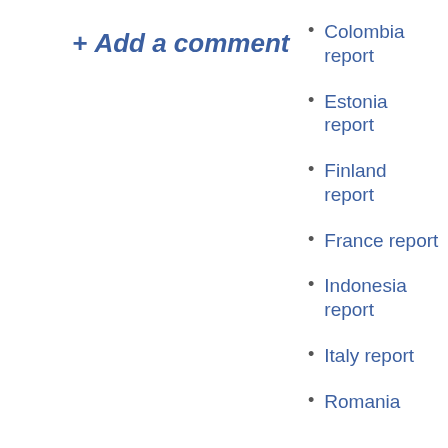+ Add a comment
Colombia report
Estonia report
Finland report
France report
Indonesia report
Italy report
Romania